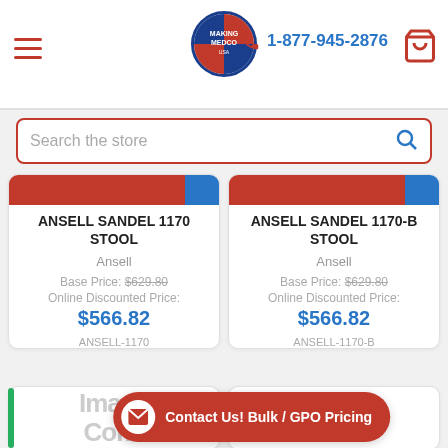1-877-945-2876
Search the store
ANSELL SANDEL 1170 STOOL
Ansell
Base Price: $629.80
Online Discounted Price:
$566.82
ANSELL-1170
ANSELL SANDEL 1170-B STOOL
Ansell
Base Price: $629.80
Online Discounted Price:
$566.82
ANSELL-1170-B
[Figure (screenshot): Image Coming placeholder cards at bottom]
Contact Us! Bulk / GPO Pricing